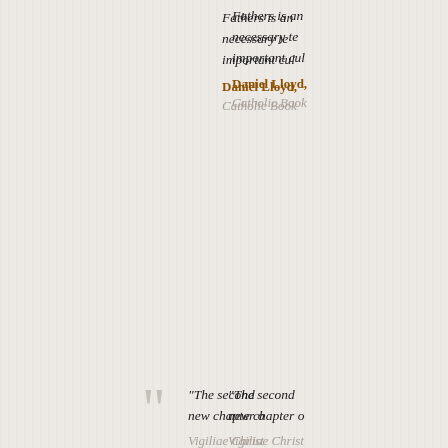Fathers is an necessary te important cul
Daniel Lloyd,
Catholic Book
"The second new chapter o
Vigiliae Christ
Praise for th
"An accessib seminary stu literature tha
Publishers We